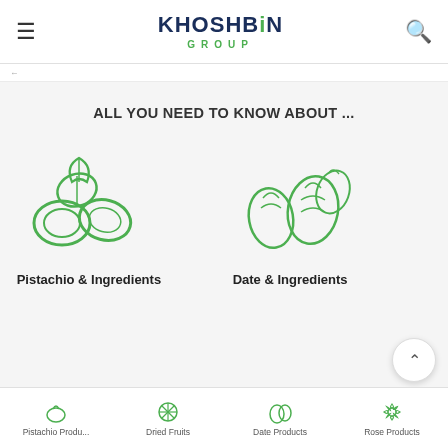KHOSHBIN GROUP
ALL YOU NEED TO KNOW ABOUT ...
[Figure (illustration): Green line-art icon of pistachio nuts cluster]
Pistachio & Ingredients
[Figure (illustration): Green line-art icon of dates cluster]
Date & Ingredients
Pistachio Produ... | Dried Fruits | Date Products | Rose Products